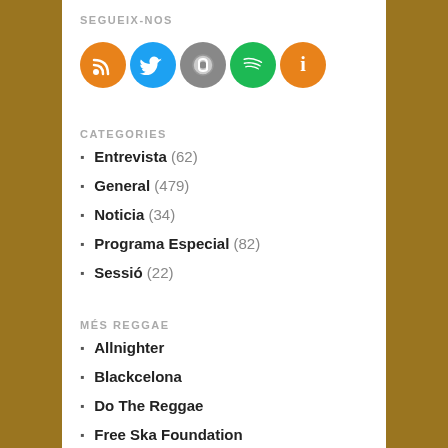SEGUEIX-NOS
[Figure (infographic): Five social media/service icons in circles: RSS (orange), Twitter (blue bird), Music/iTunes (grey), Spotify (green), Info (orange)]
CATEGORIES
Entrevista (62)
General (479)
Noticia (34)
Programa Especial (82)
Sessió (22)
MÉS REGGAE
Allnighter
Blackcelona
Do The Reggae
Free Ska Foundation
Iori Ska
Reggae Steady Ska
Reggae.es
You And Me On A Jamboree